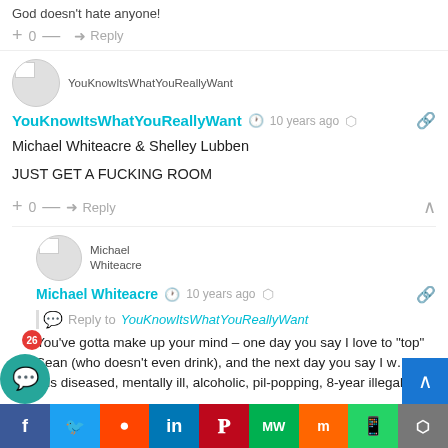God doesn't hate anyone!
+ 0 — Reply
[Figure (screenshot): User avatar for YouKnowItsWhatYouReallyWant (broken image icon inside circle)]
YouKnowItsWhatYouReallyWant
YouKnowItsWhatYouReallyWant  🕐 10 years ago  🔗
Michael Whiteacre & Shelley Lubben
JUST GET A FUCKING ROOM
+ 0 — Reply  ∧
[Figure (screenshot): User avatar for Michael Whiteacre (broken image icon inside circle)]
Michael Whiteacre
Michael Whiteacre  🕐 10 years ago  🔗
Reply to YouKnowItsWhatYouReallyWant
You've gotta make up your mind – one day you say I love to "top" Sean (who doesn't even drink), and the next day you say I w...ck this diseased, mentally ill, alcoholic, pil-popping, 8-year illegal